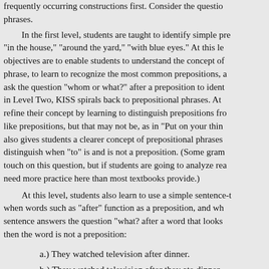frequently occurring constructions first. Consider the question phrases.
In the first level, students are taught to identify simple prepositional phrases like "in the house," "around the yard," "with blue eyes." At this level, the objectives are to enable students to understand the concept of a prepositional phrase, to learn to recognize the most common prepositions, and to learn to ask the question "whom or what?" after a preposition to identify the object. in Level Two, KISS spirals back to prepositional phrases. At this level they refine their concept by learning to distinguish prepositions from words that look like prepositions, but that may not be, as in "Put on your thinking cap." This also gives students a clearer concept of prepositional phrases by helping them distinguish when "to" is and is not a preposition. (Some grammar textbooks do touch on this question, but if students are going to analyze real texts, they need more practice here than most textbooks provide.)
At this level, students also learn to use a simple sentence-test to determine when words such as "after" function as a preposition, and when they don't. If a sentence answers the question "what? after a word that looks like a preposition, then the word is not a preposition:
a.) They watched television after dinner.
b.) They watched television after they ate dinner.